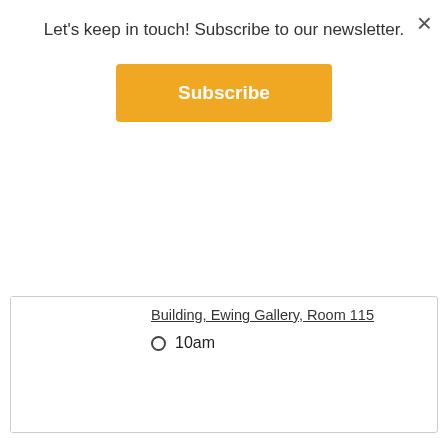Let's keep in touch! Subscribe to our newsletter.
Subscribe
×
Building, Ewing Gallery, Room 115
10am
[Figure (illustration): Artist in Residence Biennial event poster with green/yellow color blocks and text 'SEP 2']
Opening Reception - 2022 Artist in Residence Biennial
On exhibition from September 2 - October 15, the 2022 AIR Biennial will showcase of